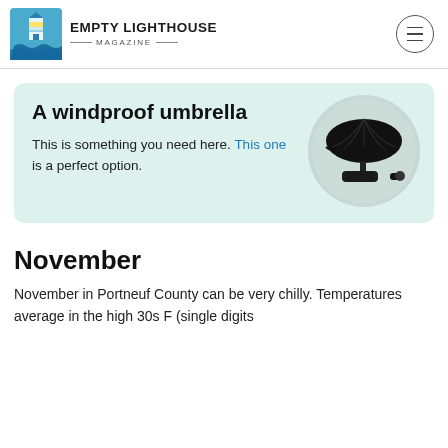EMPTY LIGHTHOUSE MAGAZINE
[Figure (infographic): Advertisement box with light mint green background showing a windproof umbrella product. Left side has bold text 'A windproof umbrella' with body text 'This is something you need here. This one is a perfect option.' Right side shows a circular image of a black folding umbrella.]
November
November in Portneuf County can be very chilly. Temperatures average in the high 30s F (single digits